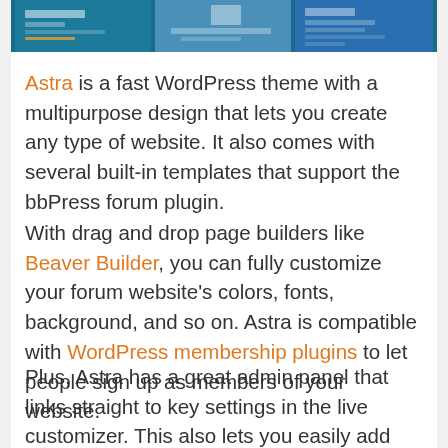[Figure (screenshot): Screenshot of website templates with blue color scheme showing three panels side by side]
Astra is a fast WordPress theme with a multipurpose design that lets you create any type of website. It also comes with several built-in templates that support the bbPress forum plugin.
With drag and drop page builders like Beaver Builder, you can fully customize your forum website's colors, fonts, background, and so on. Astra is compatible with WordPress membership plugins to let people sign up as members of your website.
Plus, Astra has a great admin panel that links straight to key settings in the live customizer. This also lets you easily add free plugins. With Astra Pro, you get lots of additional customization options as well.